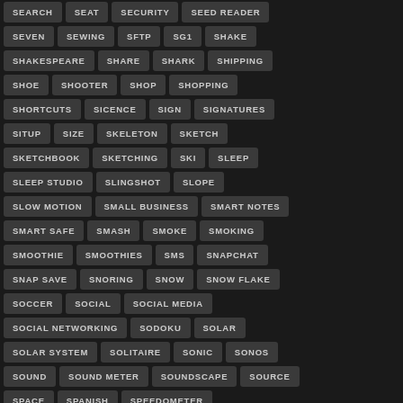SEARCH, SEAT, SECURITY, SEED READER
SEVEN, SEWING, SFTP, SG1, SHAKE
SHAKESPEARE, SHARE, SHARK, SHIPPING
SHOE, SHOOTER, SHOP, SHOPPING
SHORTCUTS, SICENCE, SIGN, SIGNATURES
SITUP, SIZE, SKELETON, SKETCH
SKETCHBOOK, SKETCHING, SKI, SLEEP
SLEEP STUDIO, SLINGSHOT, SLOPE
SLOW MOTION, SMALL BUSINESS, SMART NOTES
SMART SAFE, SMASH, SMOKE, SMOKING
SMOOTHIE, SMOOTHIES, SMS, SNAPCHAT
SNAP SAVE, SNORING, SNOW, SNOW FLAKE
SOCCER, SOCIAL, SOCIAL MEDIA
SOCIAL NETWORKING, SODOKU, SOLAR
SOLAR SYSTEM, SOLITAIRE, SONIC, SONOS
SOUND, SOUND METER, SOUNDSCAPE, SOURCE
SPACE, SPANISH, SPEEDOMETER